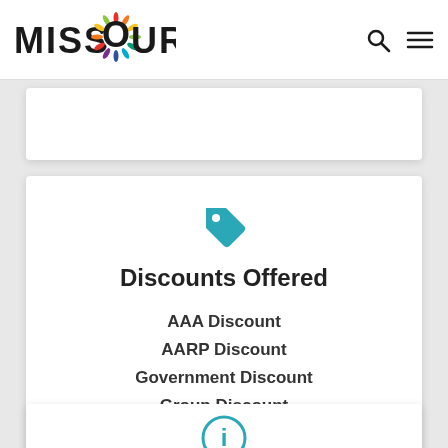MISSOURI
[Figure (logo): Missouri state tourism logo with colorful sunburst O]
Discounts Offered
AAA Discount
AARP Discount
Government Discount
Group Discount
Military Discount
Multiple-day Discount
Senior Citizen Discount